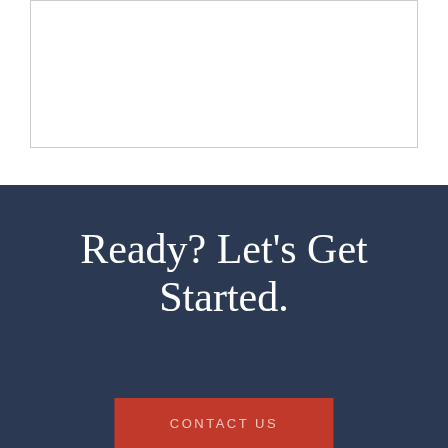[Figure (other): Empty text input/textarea box with thin border]
SUBMIT
Ready? Let's Get Started.
CONTACT US